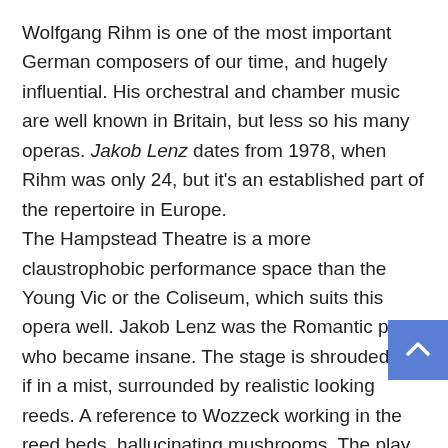Wolfgang Rihm is one of the most important German composers of our time, and hugely influential. His orchestral and chamber music are well known in Britain, but less so his many operas. Jakob Lenz dates from 1978, when Rihm was only 24, but it's an established part of the repertoire in Europe.
The Hampstead Theatre is a more claustrophobic performance space than the Young Vic or the Coliseum, which suits this opera well. Jakob Lenz was the Romantic poet who became insane. The stage is shrouded, as if in a mist, surrounded by realistic looking reeds. A reference to Wozzeck working in the reed beds, hallucinating mushrooms. The play on which Rihm's Jakob Lenz is based was written by Georg Büchner who wrote Woyzeck, the source of Alban Berg's opera.
Crazy, tangled images of reeds and water permeate this production Jakob Lenz is trapped in his madness: most of the...